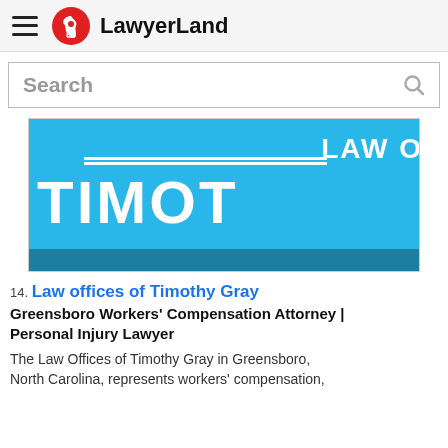LawyerLand
Search
[Figure (screenshot): Law Offices of Timothy Gray banner image — light blue background with white text reading LAW O... and TIMOTH... in large bold letters, with a dark blue bar at the bottom]
14. Law offices of Timothy Gray
Greensboro Workers' Compensation Attorney | Personal Injury Lawyer
The Law Offices of Timothy Gray in Greensboro, North Carolina, represents workers' compensation,